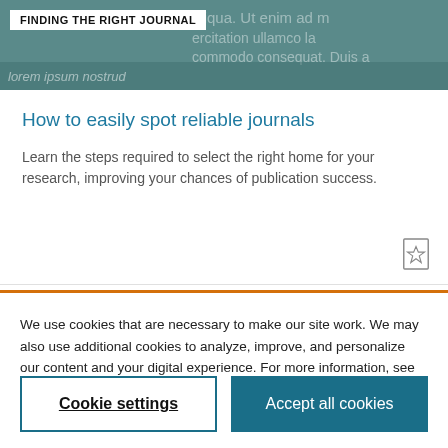[Figure (screenshot): Top teal/grey banner with 'FINDING THE RIGHT JOURNAL' tag and lorem ipsum overlay text]
FINDING THE RIGHT JOURNAL
How to easily spot reliable journals
Learn the steps required to select the right home for your research, improving your chances of publication success.
We use cookies that are necessary to make our site work. We may also use additional cookies to analyze, improve, and personalize our content and your digital experience. For more information, see our Cookie Policy
Cookie settings
Accept all cookies